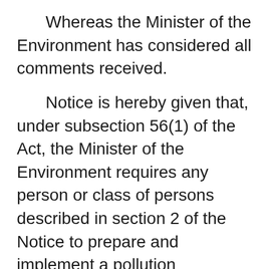Whereas the Minister of the Environment has considered all comments received.
Notice is hereby given that, under subsection 56(1) of the Act, the Minister of the Environment requires any person or class of persons described in section 2 of the Notice to prepare and implement a pollution prevention plan in respect of the substances listed in this Notice which are specified on Schedule 1 of the Act.
More information on pollution prevention planning can be found in the Pollution Prevention Planning Provisions of